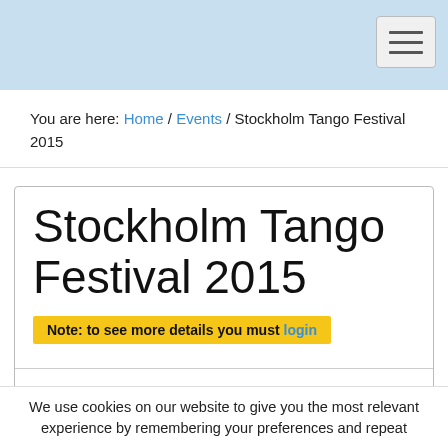Navigation bar with hamburger menu
You are here: Home / Events / Stockholm Tango Festival 2015
Stockholm Tango Festival 2015
Note: to see more details you must login
| Weekend | 1st week / Jan 2016 |
| Start | Wed 30-Dec-2015 |
We use cookies on our website to give you the most relevant experience by remembering your preferences and repeat